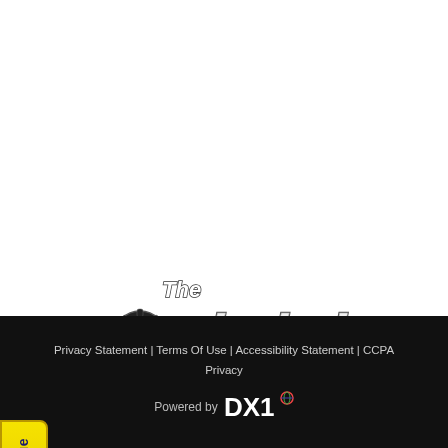[Figure (logo): Yellow rounded tab on left side with vertical text 'Instant Trade Value' in dark navy bold font]
[Figure (logo): The Sled Shop Inc. logo with BRP gear icon, large italic outlined text 'sled shop' and 'The' above, 'Inc.' to the right]
Privacy Statement | Terms Of Use | Accessibility Statement | CCPA Privacy
Powered by DX1